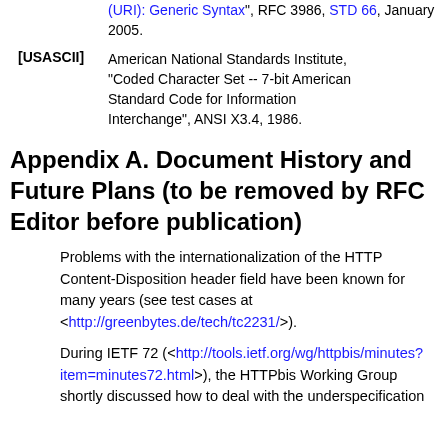(URI): Generic Syntax", RFC 3986, STD 66, January 2005.
[USASCII] American National Standards Institute, "Coded Character Set -- 7-bit American Standard Code for Information Interchange", ANSI X3.4, 1986.
Appendix A. Document History and Future Plans (to be removed by RFC Editor before publication)
Problems with the internationalization of the HTTP Content-Disposition header field have been known for many years (see test cases at <http://greenbytes.de/tech/tc2231/>).
During IETF 72 (<http://tools.ietf.org/wg/httpbis/minutes?item=minutes72.html>), the HTTPbis Working Group shortly discussed how to deal with the underspecification